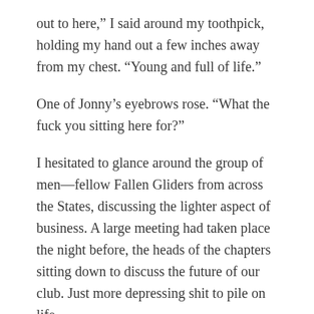out to here,” I said around my toothpick, holding my hand out a few inches away from my chest. “Young and full of life.”
One of Jonny’s eyebrows rose. “What the fuck you sitting here for?”
I hesitated to glance around the group of men—fellow Fallen Gliders from across the States, discussing the lighter aspect of business. A large meeting had taken place the night before, the heads of the chapters sitting down to discuss the future of our club. Just more depressing shit to pile on life.
“Go on,” Jonny encouraged, elbowing me again.
I hopped off my stool and pushed my way through the crowd for the front door. At six-foot-five, I had no